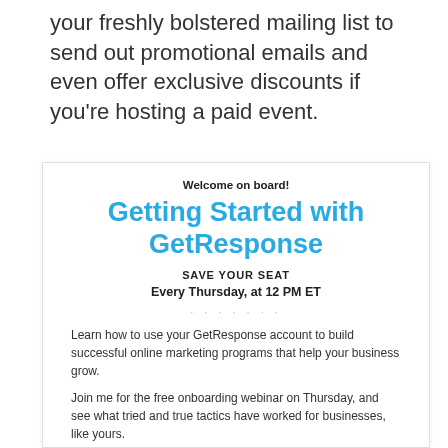your freshly bolstered mailing list to send out promotional emails and even offer exclusive discounts if you're hosting a paid event.
[Figure (screenshot): Email/webinar promotional card for GetResponse onboarding webinar]
Welcome on board!
Getting Started with GetResponse
SAVE YOUR SEAT
Every Thursday, at 12 PM ET
Learn how to use your GetResponse account to build successful online marketing programs that help your business grow.
Join me for the free onboarding webinar on Thursday, and see what tried and true tactics have worked for businesses, like yours.
You'll learn how to: